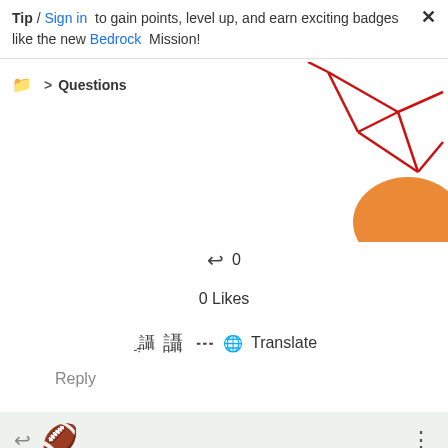Tip / Sign in to gain points, level up, and earn exciting badges like the new Bedrock Mission!
Questions
[Figure (illustration): Decorative geometric red lines and orange circle in top right corner]
0
0 Likes
Translate
Reply
[Figure (illustration): Football emoji icon for user avatar]
Correct answer by Endoriel Level 3
12-09-2018 05:24 PDT
Maybe I'm missing something but I don't really see what's complicated here. From your latest explanations it doesn't seem to be anything to do